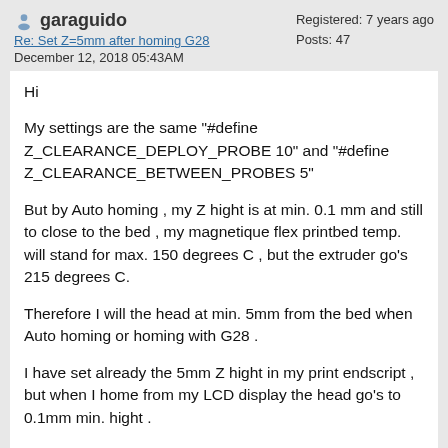garaguido
Re: Set Z=5mm after homing G28
December 12, 2018 05:43AM
Registered: 7 years ago
Posts: 47
Hi
My settings are the same "#define Z_CLEARANCE_DEPLOY_PROBE 10" and "#define Z_CLEARANCE_BETWEEN_PROBES 5"
But by Auto homing , my Z hight is at min. 0.1 mm and still to close to the bed , my magnetique flex printbed temp. will stand for max. 150 degrees C , but the extruder go's 215 degrees C.
Therefore I will the head at min. 5mm from the bed when Auto homing or homing with G28 .
I have set already the 5mm Z hight in my print endscript , but when I home from my LCD display the head go's to 0.1mm min. hight .
Where must I made the settings in Marlin for it ?
Reply  Quote